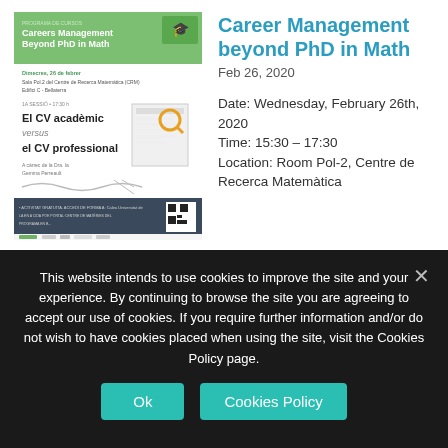[Figure (illustration): Event poster for 'Careers Management Beyond PhD in Math' workshop showing green header, event details in Catalan, CV illustration, and sponsor logos at bottom]
Career Management beyond PhD in Math
Feb 26, 2020
Date: Wednesday, February 26th, 2020
Time: 15:30 – 17:30
Location: Room Pol-2, Centre de Recerca Matemàtica
This website intends to use cookies to improve the site and your experience. By continuing to browse the site you are agreeing to accept our use of cookies. If you require further information and/or do not wish to have cookies placed when using the site, visit the Cookies Policy page.